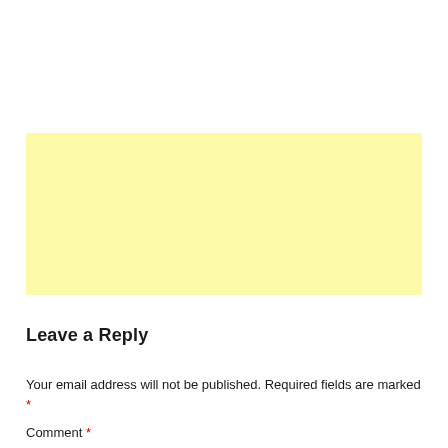[Figure (other): A light yellow rectangular box, empty, serving as a content placeholder or advertisement area.]
Leave a Reply
Your email address will not be published. Required fields are marked *
Comment *